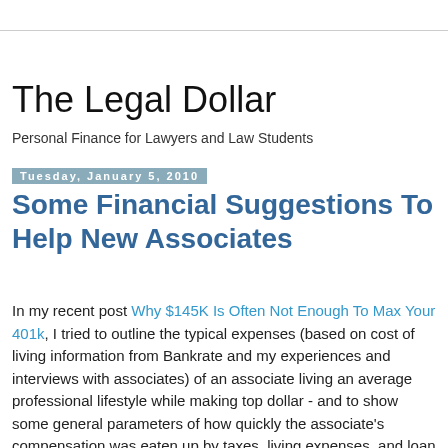The Legal Dollar
Personal Finance for Lawyers and Law Students
Tuesday, January 5, 2010
Some Financial Suggestions To Help New Associates
In my recent post Why $145K Is Often Not Enough To Max Your 401k, I tried to outline the typical expenses (based on cost of living information from Bankrate and my experiences and interviews with associates) of an associate living an average professional lifestyle while making top dollar - and to show some general parameters of how quickly the associate's compensation was eaten up by taxes, living expenses, and loan payments. My goal was not to suggest